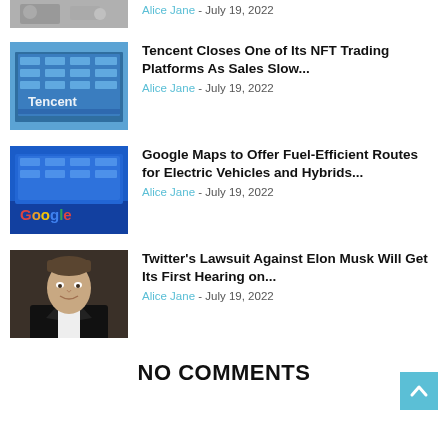[Figure (photo): Partial photo (cropped top) - animal photo]
Alice Jane - July 19, 2022
[Figure (photo): Tencent building with blue glass facade and Tencent logo]
Tencent Closes One of Its NFT Trading Platforms As Sales Slow...
Alice Jane - July 19, 2022
[Figure (photo): Google building with Google logo on blue glass exterior]
Google Maps to Offer Fuel-Efficient Routes for Electric Vehicles and Hybrids...
Alice Jane - July 19, 2022
[Figure (photo): Portrait photo of Elon Musk in a suit, smiling]
Twitter's Lawsuit Against Elon Musk Will Get Its First Hearing on...
Alice Jane - July 19, 2022
NO COMMENTS